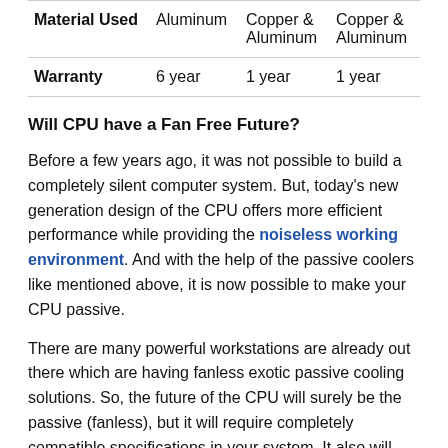|  | Aluminum | Copper & Aluminum | Copper & Aluminum |
| --- | --- | --- | --- |
| Material Used | Aluminum | Copper & Aluminum | Copper & Aluminum |
| Warranty | 6 year | 1 year | 1 year |
Will CPU have a Fan Free Future?
Before a few years ago, it was not possible to build a completely silent computer system. But, today’s new generation design of the CPU offers more efficient performance while providing the noiseless working environment. And with the help of the passive coolers like mentioned above, it is now possible to make your CPU passive.
There are many powerful workstations are already out there which are having fanless exotic passive cooling solutions. So, the future of the CPU will surely be the passive (fanless), but it will require completely compatible specifications in your system. It also will become costly to make a silent PC at initial